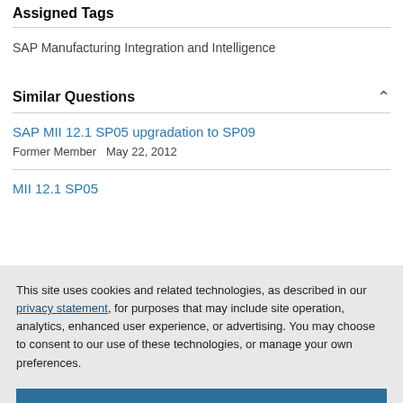Assigned Tags
SAP Manufacturing Integration and Intelligence
Similar Questions
SAP MII 12.1 SP05 upgradation to SP09
Former Member   May 22, 2012
MII 12.1 SP05
This site uses cookies and related technologies, as described in our privacy statement, for purposes that may include site operation, analytics, enhanced user experience, or advertising. You may choose to consent to our use of these technologies, or manage your own preferences.
Accept Cookies
More Information
Privacy Policy | Powered by: TrustArc